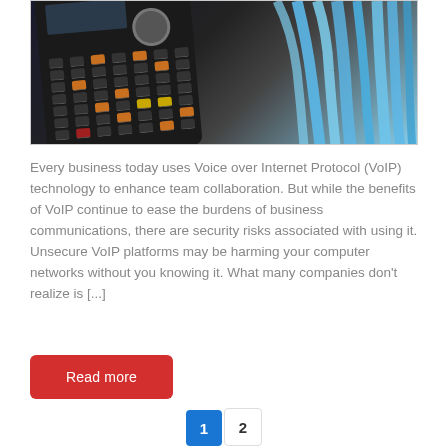[Figure (photo): Close-up photo of a black VoIP phone with keyboard and colorful buttons, with blue network cables visible in the background.]
Every business today uses Voice over Internet Protocol (VoIP) technology to enhance team collaboration. But while the benefits of VoIP continue to ease the burdens of business communications, there are security risks associated with using it. Unsecure VoIP platforms may be harming your computer networks without you knowing it. What many companies don't realize is [...]
Read more